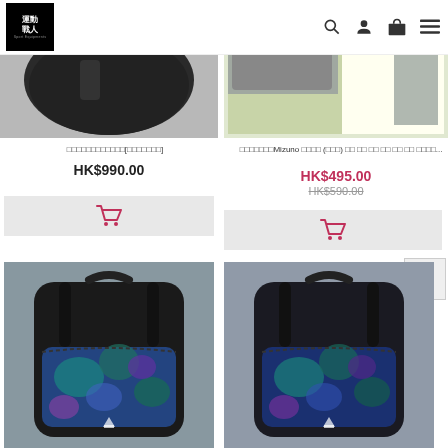[Figure (screenshot): E-commerce website header with black logo box showing Chinese characters 運動戰人, search icon, user icon, cart icon, and hamburger menu]
[Figure (photo): Dark/black duffle bag product photo on gray background]
□□□□□□□□□□□□[□□□□□□□]
HK$990.00
[Figure (photo): Mizuno sports bag product shown with packaging on light green/yellow background]
□□□□□□□Mizuno □□□□ (□□□) □□ □□ □□ □□ □□ □□ □□□□...
HK$495.00
HK$590.00
[Figure (photo): Gregory brand backpack with blue/teal floral pattern on dark mesh fabric]
[Figure (photo): Gregory brand backpack with blue/teal floral pattern on dark mesh fabric, second variant]